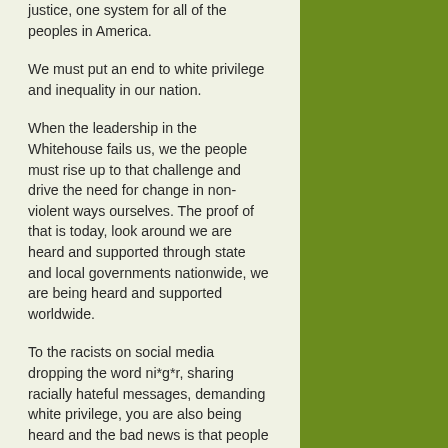justice, one system for all of the peoples in America.
We must put an end to white privilege and inequality in our nation.
When the leadership in the Whitehouse fails us, we the people must rise up to that challenge and drive the need for change in non-violent ways ourselves. The proof of that is today, look around we are heard and supported through state and local governments nationwide, we are being heard and supported worldwide.
To the racists on social media dropping the word ni*g*r, sharing racially hateful messages, demanding white privilege, you are also being heard and the bad news is that people are quietly sharing your posts and words of hate towards blacks, hispanics and asians, support of the KKK, Neo Nazi's, White Power,